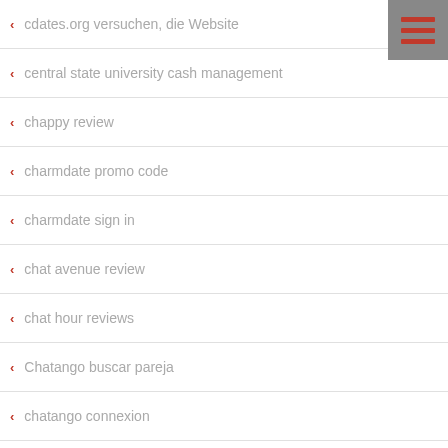cdates.org versuchen, die Website
central state university cash management
chappy review
charmdate promo code
charmdate sign in
chat avenue review
chat hour reviews
Chatango buscar pareja
chatango connexion
chatango it review
chatango review
ChatAvenue Webcam Chat Room
[Figure (illustration): Hamburger menu icon with three horizontal red bars on a grey square background]